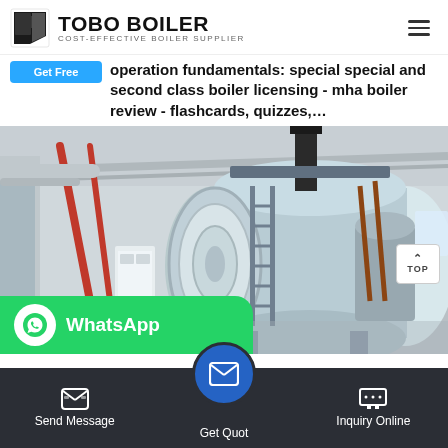TOBO BOILER - COST-EFFECTIVE BOILER SUPPLIER
operation fundamentals: special special and second class boiler licensing - mha boiler review - flashcards, quizzes,...
[Figure (photo): Industrial boiler room showing large horizontal cylindrical boiler tanks in a warehouse facility with red and copper piping, metal grating walkways, and steel structure supports.]
WhatsApp
Send Message | Inquiry Online